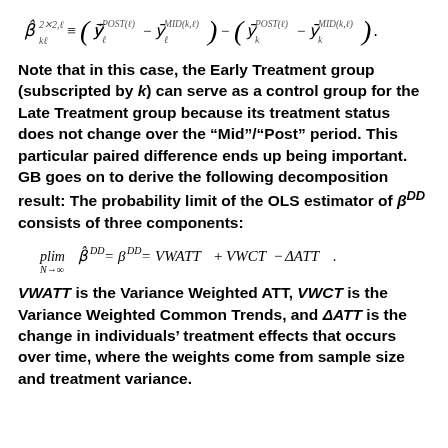Note that in this case, the Early Treatment group (subscripted by k) can serve as a control group for the Late Treatment group because its treatment status does not change over the "Mid"/"Post" period. This particular paired difference ends up being important. GB goes on to derive the following decomposition result: The probability limit of the OLS estimator of β^DD consists of three components:
VWATT is the Variance Weighted ATT, VWCT is the Variance Weighted Common Trends, and ΔATT is the change in individuals' treatment effects that occurs over time, where the weights come from sample size and treatment variance.